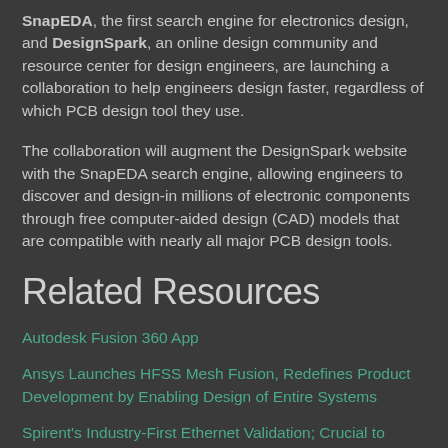SnapEDA, the first search engine for electronics design, and DesignSpark, an online design community and resource center for design engineers, are launching a collaboration to help engineers design faster, regardless of which PCB design tool they use.
The collaboration will augment the DesignSpark website with the SnapEDA search engine, allowing engineers to discover and design-in millions of electronic components through free computer-aided design (CAD) models that are compatible with nearly all major PCB design tools.
Related Resources
Autodesk Fusion 360 App
Ansys Launches HFSS Mesh Fusion, Redefines Product Development by Enabling Design of Entire Systems
Spirent's Industry-First Ethernet Validation; Crucial to Maintaining Explosive Growth of the Cloud...